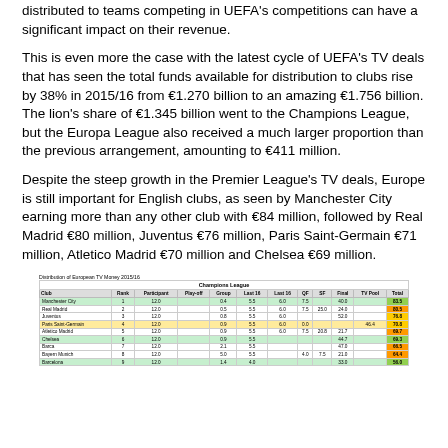distributed to teams competing in UEFA's competitions can have a significant impact on their revenue.
This is even more the case with the latest cycle of UEFA's TV deals that has seen the total funds available for distribution to clubs rise by 38% in 2015/16 from €1.270 billion to an amazing €1.756 billion. The lion's share of €1.345 billion went to the Champions League, but the Europa League also received a much larger proportion than the previous arrangement, amounting to €411 million.
Despite the steep growth in the Premier League's TV deals, Europe is still important for English clubs, as seen by Manchester City earning more than any other club with €84 million, followed by Real Madrid €80 million, Juventus €76 million, Paris Saint-Germain €71 million, Atletico Madrid €70 million and Chelsea €69 million.
| Club | Rank | Participant | Play-off | Group | Last 16 | Last 16 | QF | SF | Final | TV Pool | Total |
| --- | --- | --- | --- | --- | --- | --- | --- | --- | --- | --- | --- |
| Manchester City | 1 | 12.0 |  | 0.4 | 5.5 | 6.0 | 7.5 |  | 40.0 |  | 83.5 |
| Real Madrid | 2 | 12.0 |  | 0.5 | 5.5 | 6.0 | 7.5 | 25.0 | 24.0 |  | 80.5 |
| Juventus | 3 | 12.0 |  | 0.8 | 5.5 | 6.0 |  |  | 52.0 |  | 76.8 |
| Paris Saint-Germain | 4 | 12.0 |  | 0.9 | 5.5 | 6.0 | 0.0 |  |  | 46.4 | 70.8 |
| Atletico Madrid | 5 | 12.0 |  | 0.9 | 5.5 | 6.0 | 7.5 | 20.8 | 21.7 |  | 69.7 |
| Chelsea | 6 | 12.0 |  | 0.9 | 5.5 |  |  |  | 44.7 |  | 69.3 |
| Barca | 7 | 12.0 |  | 2.1 | 5.5 |  |  |  | 47.0 |  | 66.5 |
| Bayern Munich | 8 | 12.0 |  | 5.0 | 5.5 |  | 4.0 | 7.5 | 21.0 |  | 64.4 |
| Barcelona | 9 | 12.0 |  | 1.4 | 4.0 |  |  |  | 33.0 |  | 56.0 |